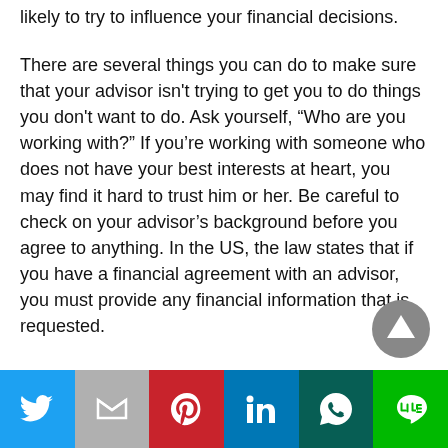likely to try to influence your financial decisions.
There are several things you can do to make sure that your advisor isn't trying to get you to do things you don't want to do. Ask yourself, “Who are you working with?” If you’re working with someone who does not have your best interests at heart, you may find it hard to trust him or her. Be careful to check on your advisor’s background before you agree to anything. In the US, the law states that if you have a financial agreement with an advisor, you must provide any financial information that is requested.
[Figure (other): Social share buttons bar: Twitter (blue), Gmail (grey), Pinterest (red), LinkedIn (blue), WhatsApp (dark green), Line (green)]